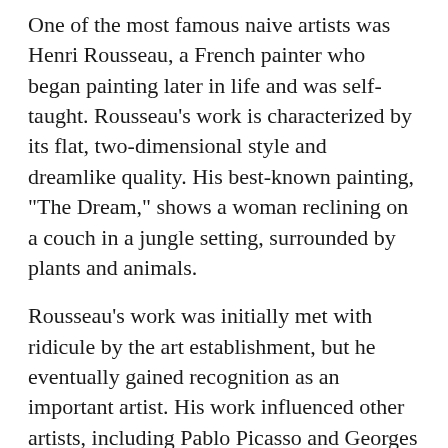One of the most famous naive artists was Henri Rousseau, a French painter who began painting later in life and was self-taught. Rousseau's work is characterized by its flat, two-dimensional style and dreamlike quality. His best-known painting, "The Dream," shows a woman reclining on a couch in a jungle setting, surrounded by plants and animals.
Rousseau's work was initially met with ridicule by the art establishment, but he eventually gained recognition as an important artist. His work influenced other artists, including Pablo Picasso and Georges Braque, who helped pioneer the Cubist movement.
While Rousseau is one of the most famous naive artists, there are many other talented naïve painters working today. Naive art has experienced a resurgence in popularity in recent years, as more people have become interested in its simple beauty and childlike innocence.